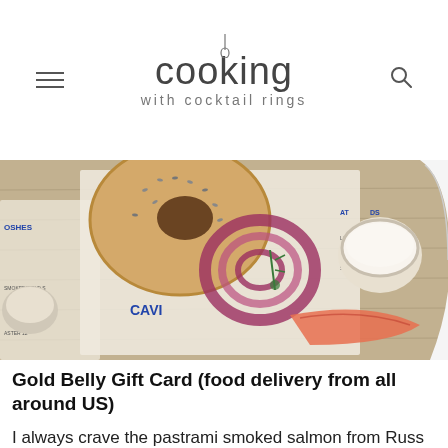cooking with cocktail rings
[Figure (photo): Overhead photo of a wooden cutting board with a sesame bagel, sliced red onion, capers, cream cheese in a bowl, smoked salmon, and menu cards including one labeled 'CAVI...' (Caviar) on a deli menu background]
Gold Belly Gift Card (food delivery from all around US)
I always crave the pastrami smoked salmon from Russ & Daughters and Magnolia Bakery banana pudding from NYC. With Gold Belly I can have my favorites shipped to me so I'm a little less homesick. You can get yourfavorites